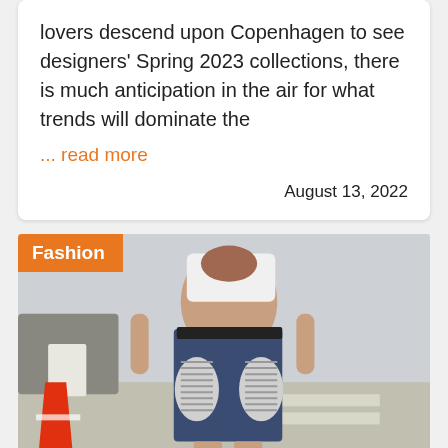lovers descend upon Copenhagen to see designers' Spring 2023 collections, there is much anticipation in the air for what trends will dominate the
... read more
August 13, 2022
[Figure (photo): A person walking on a street wearing a white crop top and denim shorts with striped patch pockets, with a traffic cone visible on the left side. An orange 'Fashion' badge overlays the top-left corner of the image.]